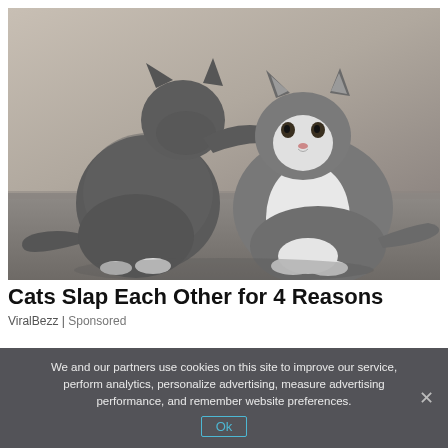[Figure (photo): Two gray cats facing each other. The cat on the left has its paw raised, touching/slapping the face of the cat on the right which is gray and white. Both are sitting on a gray floor surface with a neutral gray background.]
Cats Slap Each Other for 4 Reasons
ViralBezz | Sponsored
We and our partners use cookies on this site to improve our service, perform analytics, personalize advertising, measure advertising performance, and remember website preferences.